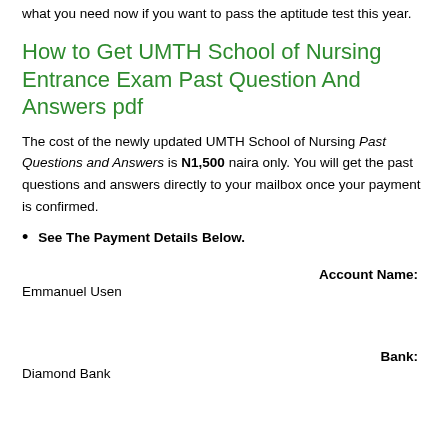what you need now if you want to pass the aptitude test this year.
How to Get UMTH School of Nursing Entrance Exam Past Question And Answers pdf
The cost of the newly updated UMTH School of Nursing Past Questions and Answers is N1,500 naira only. You will get the past questions and answers directly to your mailbox once your payment is confirmed.
See The Payment Details Below.
Account Name:
Emmanuel Usen
Bank:
Diamond Bank